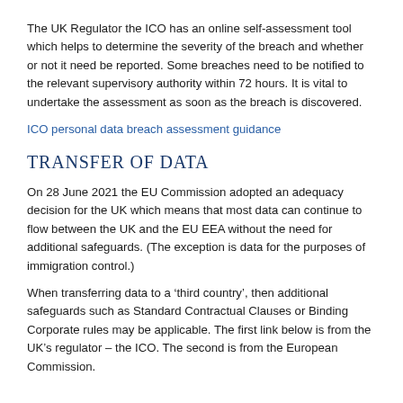The UK Regulator the ICO has an online self-assessment tool which helps to determine the severity of the breach and whether or not it need be reported. Some breaches need to be notified to the relevant supervisory authority within 72 hours. It is vital to undertake the assessment as soon as the breach is discovered.
ICO personal data breach assessment guidance
Transfer of data
On 28 June 2021 the EU Commission adopted an adequacy decision for the UK which means that most data can continue to flow between the UK and the EU EEA without the need for additional safeguards. (The exception is data for the purposes of immigration control.)
When transferring data to a ‘third country’, then additional safeguards such as Standard Contractual Clauses or Binding Corporate rules may be applicable. The first link below is from the UK’s regulator – the ICO. The second is from the European Commission.